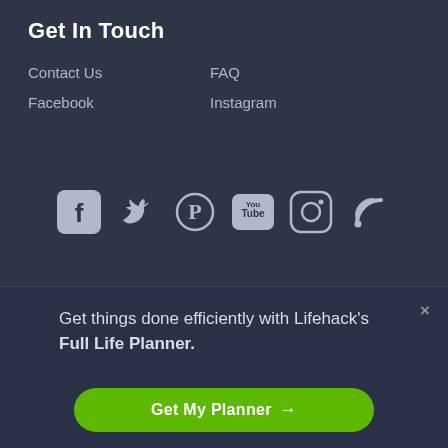Get In Touch
Contact Us
FAQ
Facebook
Instagram
[Figure (infographic): Social media icons row: Facebook, Twitter, Pinterest, YouTube, Instagram, RSS feed]
Terms and Conditions   Privacy Policy
© 2005 - 2022 Lifehack · All Rights Reserved.
Get things done efficiently with Lifehack's Full Life Planner.
Get My Planner →